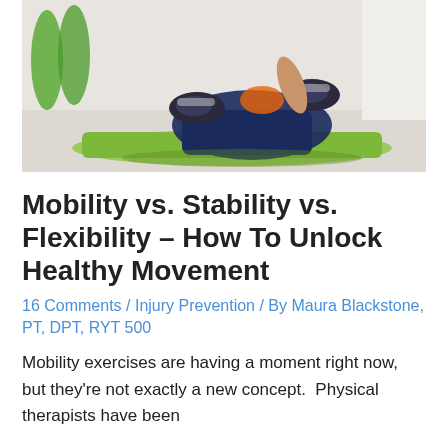[Figure (photo): Person performing a stretching exercise on a green yoga mat on a gym floor, wearing dark shorts and sneakers, with green foam rollers visible in the background.]
Mobility vs. Stability vs. Flexibility – How To Unlock Healthy Movement
16 Comments / Injury Prevention / By Maura Blackstone, PT, DPT, RYT 500
Mobility exercises are having a moment right now, but they're not exactly a new concept.  Physical therapists have been